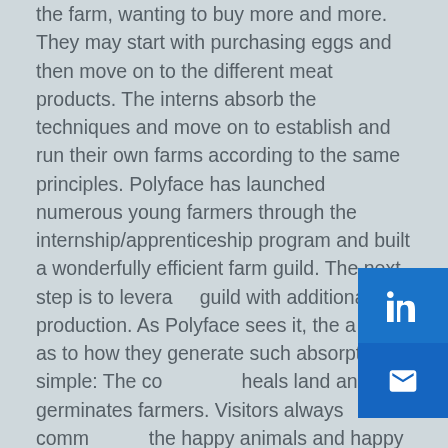the farm, wanting to buy more and more. They may start with purchasing eggs and then move on to the different meat products. The interns absorb the techniques and move on to establish and run their own farms according to the same principles. Polyface has launched numerous young farmers through the internship/apprenticeship program and built a wonderfully efficient farm guild. The next step is to leverage the guild with additional production. As Polyface sees it, the answer as to how they generate such absorption is simple: The community heals land and germinates farmers. Visitors always comment on the happy animals and happy farmers, most of whom are under the age of 35.
Another context, or community, for Polyface is its local food distribution system termed the Metropolitan Buying Club. It combines the real-time interfaces of online marketing with community-based interaction. These kind of interfaces create efficiencies and economies in local food distribution which excite the participants and those wanting to find out about the